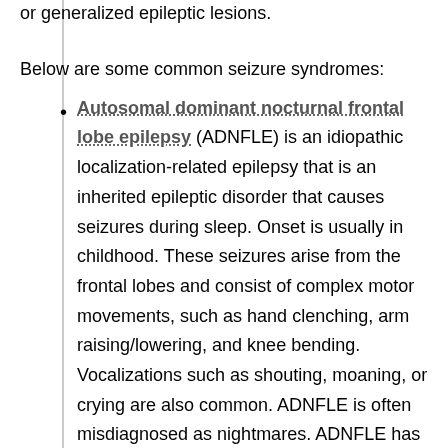or generalized epileptic lesions.
Below are some common seizure syndromes:
Autosomal dominant nocturnal frontal lobe epilepsy (ADNFLE) is an idiopathic localization-related epilepsy that is an inherited epileptic disorder that causes seizures during sleep. Onset is usually in childhood. These seizures arise from the frontal lobes and consist of complex motor movements, such as hand clenching, arm raising/lowering, and knee bending. Vocalizations such as shouting, moaning, or crying are also common. ADNFLE is often misdiagnosed as nightmares. ADNFLE has a genetic basis. These genes encode various